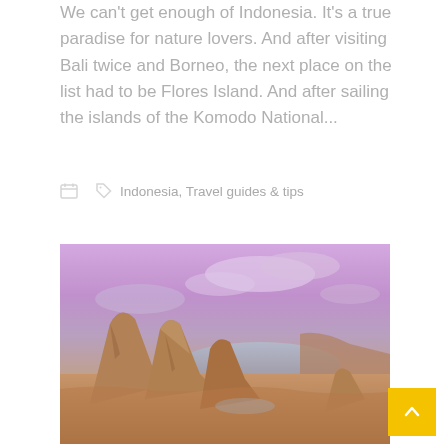We can't get enough of Indonesia. It's a true paradise for nature lovers. And after visiting Bali twice and Borneo, the next place on the list had to be Flores Island. And after sailing the islands of the Komodo National...
Indonesia, Travel guides & tips
[Figure (photo): Coastal rocky landscape with distinctive large rounded and angular rock formations in orange-brown tones. Purple-pink sky with clouds in the background, ocean inlet visible between rocks.]